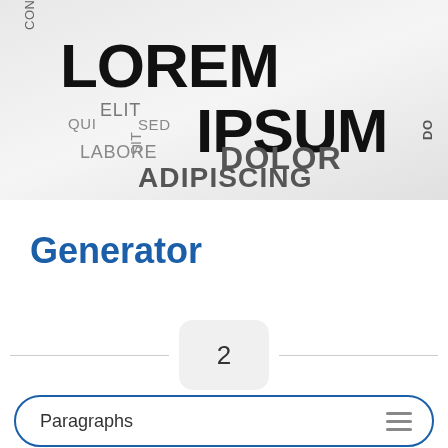[Figure (illustration): Lorem Ipsum word cloud with various words (LOREM, IPSUM, DOLOR, AMET, CONSECTETUR, ADIPISCING, ELIT, SED, LABORE, SIT, QUI, DO, MAGNA, GENERATOR, UT, ET, ENIM, LIBERO, INCIDIDUI) arranged in different sizes, colors (black, dark gray, light gray, blue), and orientations (horizontal and vertical) on a light gray gradient background.]
Generator
2
Paragraphs